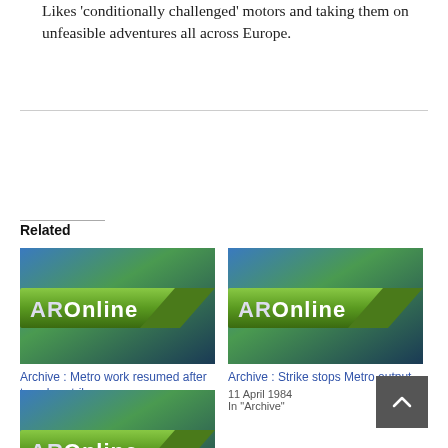Likes 'conditionally challenged' motors and taking them on unfeasible adventures all across Europe.
Related
[Figure (logo): AROnline logo on blue-green gradient background]
Archive : Metro work resumed after two-day strike
26 November 1980
In "Archive"
[Figure (logo): AROnline logo on blue-green gradient background]
Archive : Strike stops Metro output
11 April 1984
In "Archive"
[Figure (logo): AROnline logo on blue-green gradient background (partial)]